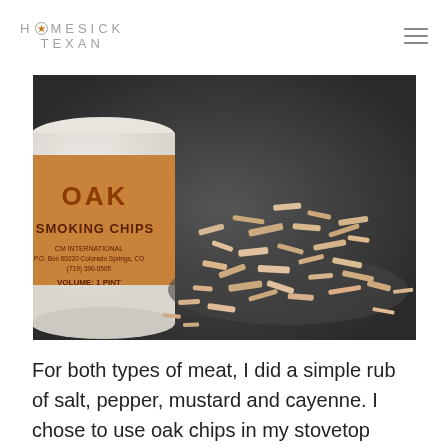HOMESICK TEXAN
[Figure (photo): A container of Oak Smoking Chips by CM International (P.O. Box 60220, Colorado Springs, CO, (719) 390-0505, Volume: 1 Pint) next to a pile of wood smoking chips spread on a dark surface.]
For both types of meat, I did a simple rub of salt, pepper, mustard and cayenne. I chose to use oak chips in my stovetop smoker, so it